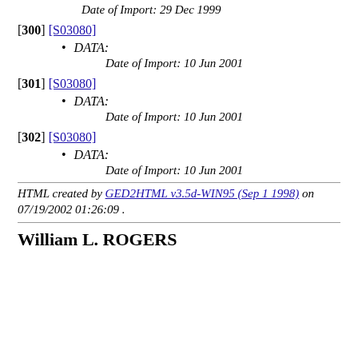Date of Import: 29 Dec 1999
[300] [S03080]
DATA:
Date of Import: 10 Jun 2001
[301] [S03080]
DATA:
Date of Import: 10 Jun 2001
[302] [S03080]
DATA:
Date of Import: 10 Jun 2001
HTML created by GED2HTML v3.5d-WIN95 (Sep 1 1998) on 07/19/2002 01:26:09 .
William L. ROGERS